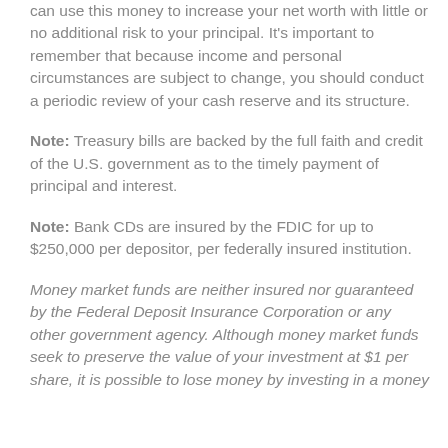can use this money to increase your net worth with little or no additional risk to your principal. It's important to remember that because income and personal circumstances are subject to change, you should conduct a periodic review of your cash reserve and its structure.
Note: Treasury bills are backed by the full faith and credit of the U.S. government as to the timely payment of principal and interest.
Note: Bank CDs are insured by the FDIC for up to $250,000 per depositor, per federally insured institution.
Money market funds are neither insured nor guaranteed by the Federal Deposit Insurance Corporation or any other government agency. Although money market funds seek to preserve the value of your investment at $1 per share, it is possible to lose money by investing in a money